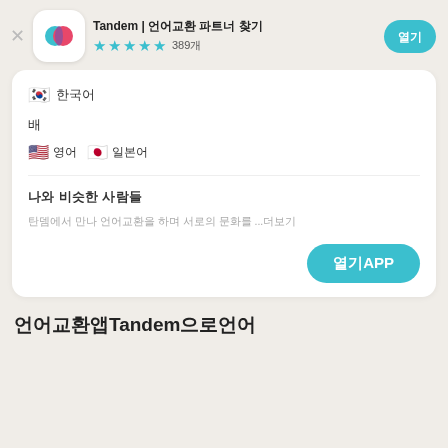Tandem | 언어교환 파트너 찾기
★★★★☆ 389개
🇰🇷 한국어
배
🇺🇸 영어  🇯🇵 일본어
나와 비슷한 사람들
탄뎀에서 만나 언어교환을 하며 서로의 문화를 ...더보기
열기APP
언어교환앱Tandem으로언어